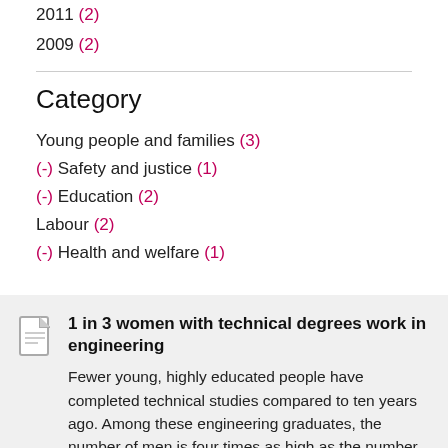2011 (2)
2009 (2)
Category
Young people and families (3)
(-) Safety and justice (1)
(-) Education (2)
Labour (2)
(-) Health and welfare (1)
1 in 3 women with technical degrees work in engineering
Fewer young, highly educated people have completed technical studies compared to ten years ago. Among these engineering graduates, the number of men is four times as high as the number of women. According to Statistics Netherlands, nearly 30 percent of female and